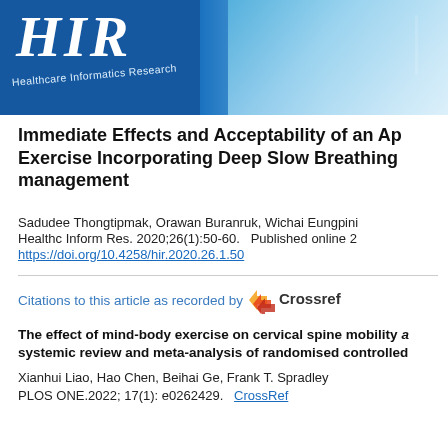[Figure (logo): HIR Healthcare Informatics Research journal banner with blue diagonal design and medical staff illustration]
Immediate Effects and Acceptability of an App Exercise Incorporating Deep Slow Breathing management
Sadudee Thongtipmak, Orawan Buranruk, Wichai Eungpini
Healthc Inform Res. 2020;26(1):50-60.   Published online 2
https://doi.org/10.4258/hir.2020.26.1.50
Citations to this article as recorded by Crossref
The effect of mind-body exercise on cervical spine mobility systemic review and meta-analysis of randomised controlled
Xianhui Liao, Hao Chen, Beihai Ge, Frank T. Spradley
PLOS ONE.2022; 17(1): e0262429.   CrossRef